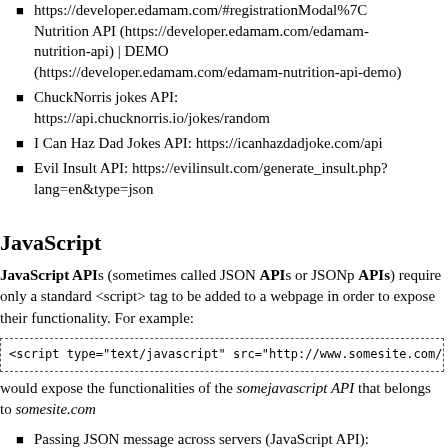https://developer.edamam.com/#registrationModal%7C Nutrition API (https://developer.edamam.com/edamam-nutrition-api) | DEMO (https://developer.edamam.com/edamam-nutrition-api-demo)
ChuckNorris jokes API: https://api.chucknorris.io/jokes/random
I Can Haz Dad Jokes API: https://icanhazdadjoke.com/api
Evil Insult API: https://evilinsult.com/generate_insult.php?lang=en&type=json
JavaScript
JavaScript APIs (sometimes called JSON APIs or JSONp APIs) require only a standard <script> tag to be added to a webpage in order to expose their functionality. For example:
<script type="text/javascript" src="http://www.somesite.com/somejavas
would expose the functionalities of the somejavascript API that belongs to somesite.com
Passing JSON message across servers (JavaScript API):